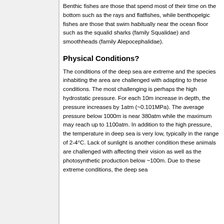Benthic fishes are those that spend most of their time on the bottom such as the rays and flatfishes, while benthopelgic fishes are those that swim habitually near the ocean floor such as the squalid sharks (family Squalidae) and smoothheads (family Alepocephalidae).
Physical Conditions?
The conditions of the deep sea are extreme and the species inhabiting the area are challenged with adapting to these conditions. The most challenging is perhaps the high hydrostatic pressure. For each 10m increase in depth, the pressure increases by 1atm (~0.101MPa). The average pressure below 1000m is near 380atm while the maximum may reach up to 1100atm. In addition to the high pressure, the temperature in deep sea is very low, typically in the range of 2-4°C. Lack of sunlight is another condition these animals are challenged with affecting their vision as well as the photosynthetic production below ~100m. Due to these extreme conditions, the deep sea